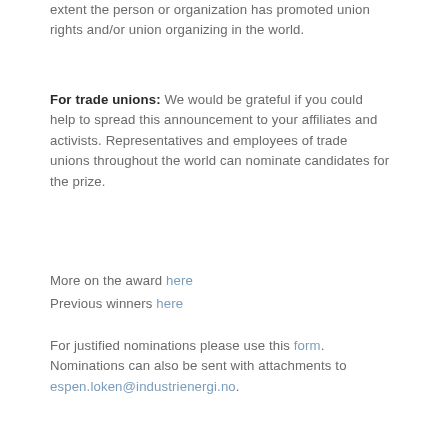extent the person or organization has promoted union rights and/or union organizing in the world.
For trade unions: We would be grateful if you could help to spread this announcement to your affiliates and activists. Representatives and employees of trade unions throughout the world can nominate candidates for the prize.
More on the award here
Previous winners here
For justified nominations please use this form. Nominations can also be sent with attachments to espen.loken@industrienergi.no.